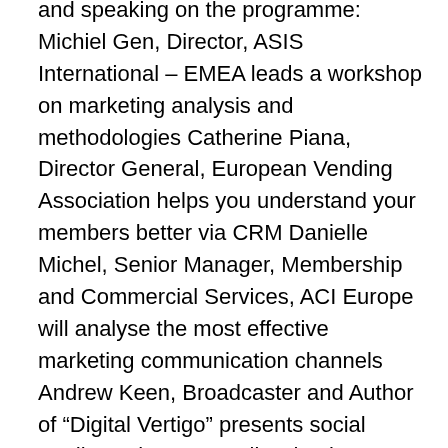and speaking on the programme: Michiel Gen, Director, ASIS International – EMEA leads a workshop on marketing analysis and methodologies Catherine Piana, Director General, European Vending Association helps you understand your members better via CRM Danielle Michel, Senior Manager, Membership and Commercial Services, ACI Europe will analyse the most effective marketing communication channels Andrew Keen, Broadcaster and Author of “Digital Vertigo” presents social media, web 3.0: a reality check Steve Miller, Membership, IAB Europe, European Digital & Interactive Association conducts a “PEST” analysis of your member offering Monica Dignam, Former Chief Research Officer, American Society of Association Executives, Ireland chairs the stream on membership development and offers membership recruitment advice…